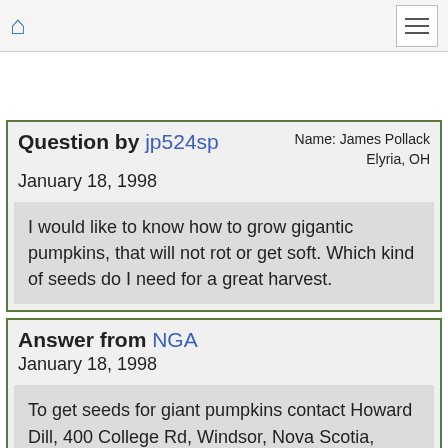Home | Menu
Question by jp524sp — Name: James Pollack, Elyria, OH — January 18, 1998
I would like to know how to grow gigantic pumpkins, that will not rot or get soft. Which kind of seeds do I need for a great harvest.
Answer from NGA — January 18, 1998
To get seeds for giant pumpkins contact Howard Dill, 400 College Rd, Windsor, Nova Scotia, Canada BON2TO. Seeds from hybrid plants cannot be relied